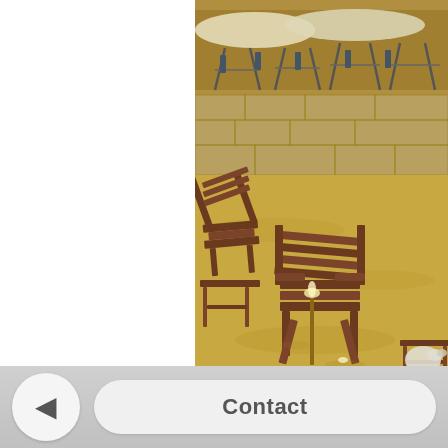[Figure (photo): Outdoor beach scene with wooden Adirondack chairs and side tables on sandy ground near a marina, with boats on stands/cradles visible in the background against a stone retaining wall. Yellow-warm toned photograph.]
Contact